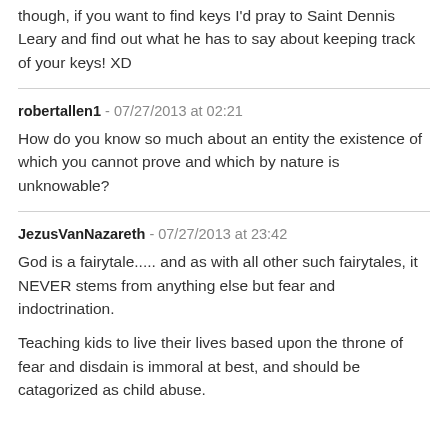though, if you want to find keys I'd pray to Saint Dennis Leary and find out what he has to say about keeping track of your keys! XD
robertallen1 - 07/27/2013 at 02:21
How do you know so much about an entity the existence of which you cannot prove and which by nature is unknowable?
JezusVanNazareth - 07/27/2013 at 23:42
God is a fairytale..... and as with all other such fairytales, it NEVER stems from anything else but fear and indoctrination.

Teaching kids to live their lives based upon the throne of fear and disdain is immoral at best, and should be catagorized as child abuse.